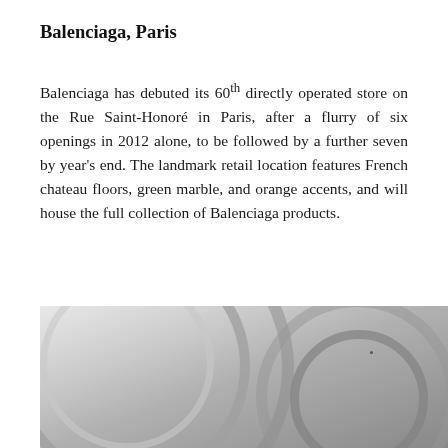Balenciaga, Paris
Balenciaga has debuted its 60th directly operated store on the Rue Saint-Honoré in Paris, after a flurry of six openings in 2012 alone, to be followed by a further seven by year's end. The landmark retail location features French chateau floors, green marble, and orange accents, and will house the full collection of Balenciaga products.
Website: balenciaga.com
Source: Balenciaga Facebook
[Figure (photo): Interior photo of the Balenciaga Paris store showing curved metallic ring/arc architectural elements with a bright white ceiling and modern design details.]